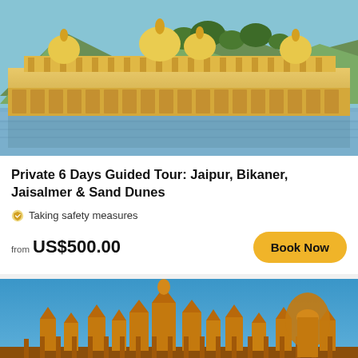[Figure (photo): Jal Mahal palace in Jaipur, a golden ornate palace reflected in a blue lake with green hills in the background]
Private 6 Days Guided Tour: Jaipur, Bikaner, Jaisalmer & Sand Dunes
Taking safety measures
from US$500.00
[Figure (photo): Golden stone temples and monuments in Rajasthan under a bright blue sky, ornate carved structures and pillars]